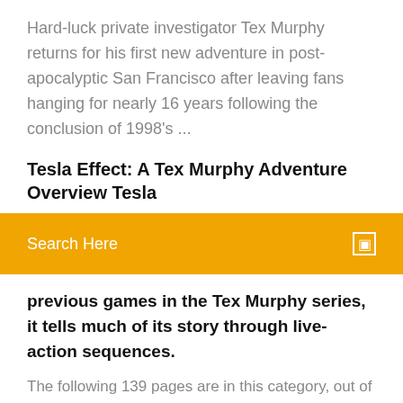Hard-luck private investigator Tex Murphy returns for his first new adventure in post-apocalyptic San Francisco after leaving fans hanging for nearly 16 years following the conclusion of 1998's ...
Tesla Effect: A Tex Murphy Adventure Overview Tesla
Search Here
previous games in the Tex Murphy series, it tells much of its story through live-action sequences.
The following 139 pages are in this category, out of 139 total. This list may not reflect recent changes (learn more). List of interactive movies - Wikipedia This is a list of interactive movies and interactive games grouped by original year of release. Big Finish Games - Wikipedia The company was founded with the goal of developing story-driven, interactive games. The company's debut production, Three Cards To Midnight, was